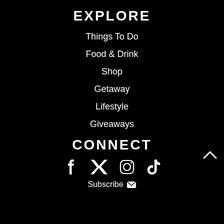EXPLORE
Things To Do
Food & Drink
Shop
Getaway
Lifestyle
Giveaways
CONNECT
[Figure (other): Social media icons: Facebook, Twitter, Instagram, TikTok]
Subscribe